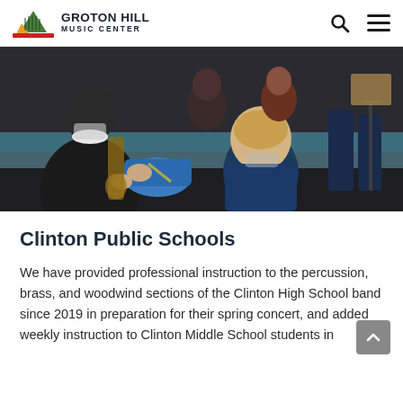GROTON HILL MUSIC CENTER
[Figure (photo): Children wearing masks playing instruments in a classroom setting, viewed from behind and the side.]
Clinton Public Schools
We have provided professional instruction to the percussion, brass, and woodwind sections of the Clinton High School band since 2019 in preparation for their spring concert, and added weekly instruction to Clinton Middle School students in